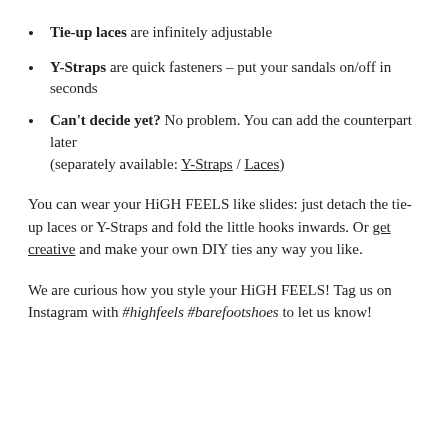Tie-up laces are infinitely adjustable
Y-Straps are quick fasteners – put your sandals on/off in seconds
Can't decide yet? No problem. You can add the counterpart later (separately available: Y-Straps / Laces)
You can wear your HiGH FEELS like slides: just detach the tie-up laces or Y-Straps and fold the little hooks inwards. Or get creative and make your own DIY ties any way you like.
We are curious how you style your HiGH FEELS! Tag us on Instagram with #highfeels #barefootshoes to let us know!